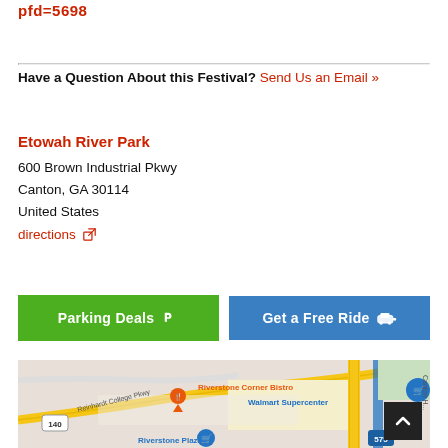pfd=5698
Have a Question About this Festival? Send Us an Email »
Etowah River Park
600 Brown Industrial Pkwy
Canton, GA 30114
United States
directions
Parking Deals
Get a Free Ride
[Figure (map): Google Maps showing area around Etowah River Park in Canton, GA. Shows Riverstone Corner Bistro, Walmart Supercenter, Riverstone Plaza, Reinhardt College Pkwy, route 140, route 575.]